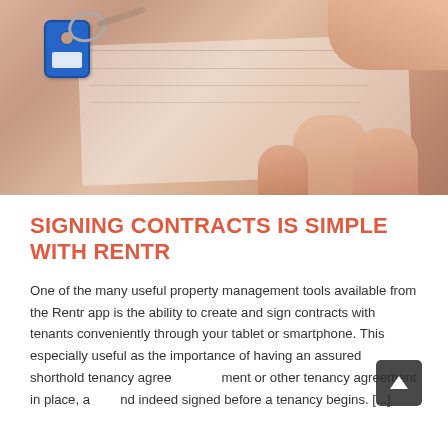[Figure (photo): Close-up photo of a hand holding a key with a blue rectangular key tag, resting on what appears to be a document or paper, suggesting property/rental signing]
SIGNING CONTRACTS IS SIMPLE WITH RENTR
One of the many useful property management tools available from the Rentr app is the ability to create and sign contracts with tenants conveniently through your tablet or smartphone. This especially useful as the importance of having an assured shorthold tenancy agreement or other tenancy agreement in place, and indeed signed before a tenancy begins. [...]